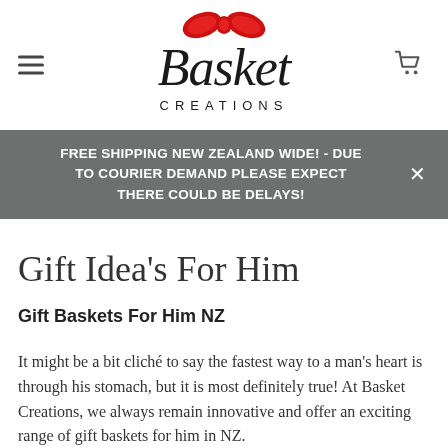[Figure (logo): Basket Creations logo with cursive script text and a red bow graphic above the word 'Basket', with 'CREATIONS' in small caps below]
FREE SHIPPING NEW ZEALAND WIDE! - DUE TO COURIER DEMAND PLEASE EXPECT THERE COULD BE DELAYS!
Gift Idea's For Him
Gift Baskets For Him NZ
It might be a bit cliché to say the fastest way to a man's heart is through his stomach, but it is most definitely true! At Basket Creations, we always remain innovative and offer an exciting range of gift baskets for him in NZ.